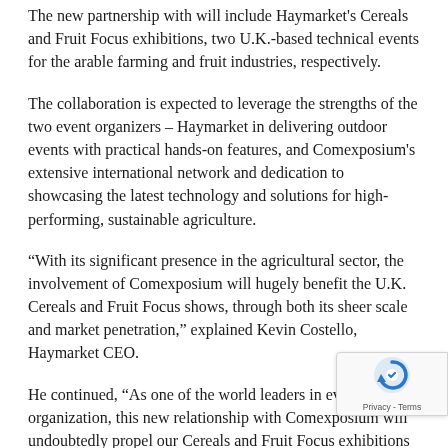The new partnership with will include Haymarket's Cereals and Fruit Focus exhibitions, two U.K.-based technical events for the arable farming and fruit industries, respectively.
The collaboration is expected to leverage the strengths of the two event organizers – Haymarket in delivering outdoor events with practical hands-on features, and Comexposium's extensive international network and dedication to showcasing the latest technology and solutions for high- performing, sustainable agriculture.
“With its significant presence in the agricultural sector, the involvement of Comexposium will hugely benefit the U.K. Cereals and Fruit Focus shows, through both its sheer scale and market penetration,” explained Kevin Costello, Haymarket CEO.
He continued, “As one of the world leaders in event organization, this new relationship with Comexposium will undoubtedly propel our Cereals and Fruit Focus exhibitions towards new international growth areas. While the partnership has obvious benefits to our existing business, I am equally excited about us working together to identify future areas of opportunity.”
[Figure (other): reCAPTCHA badge overlay in the bottom-right corner showing the reCAPTCHA logo (blue circular arrow icon) and 'Privacy - Terms' text]